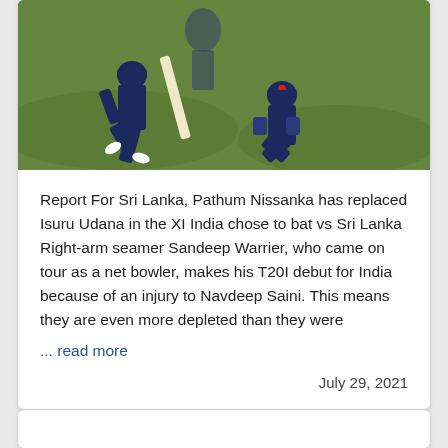[Figure (photo): Cricket match scene showing two players in dark blue uniforms, one batting with a cricket bat and one crouching, on a green grass field]
Report For Sri Lanka, Pathum Nissanka has replaced Isuru Udana in the XI India chose to bat vs Sri Lanka Right-arm seamer Sandeep Warrier, who came on tour as a net bowler, makes his T20I debut for India because of an injury to Navdeep Saini. This means they are even more depleted than they were
... read more
July 29, 2021